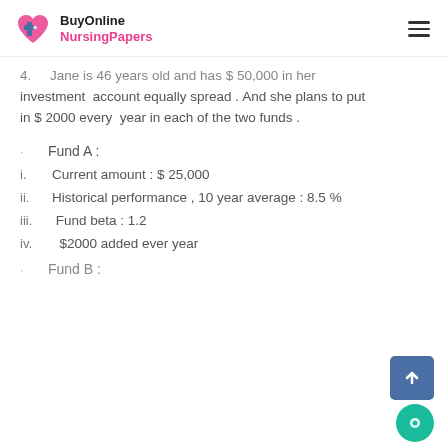BuyOnline NursingPapers
4.   Jane is 46 years old and has $ 50,000 in her investment account equally spread . And she plans to put in $ 2000 every year in each of the two funds .
·       Fund A :
i.    Current amount : $ 25,000
ii.   Historical performance , 10 year average : 8.5 %
iii.  Fund beta : 1.2
iv.  $2000 added ever year
·       Fund B :